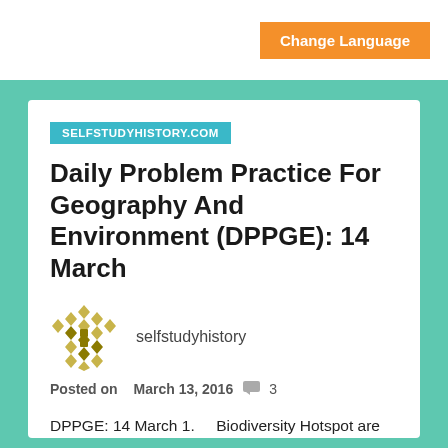Change Language
SELFSTUDYHISTORY.COM
Daily Problem Practice For Geography And Environment (DPPGE): 14 March
selfstudyhistory
Posted on  March 13, 2016  💬 3
DPPGE: 14 March 1.    Biodiversity Hotspot are characterized on the basis of: a.   Endemic flowering plant and threat perception b.   Endemic flowering